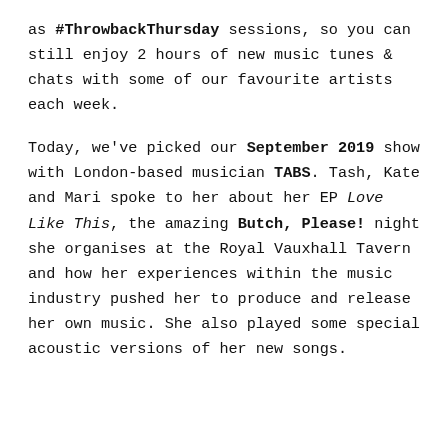as #ThrowbackThursday sessions, so you can still enjoy 2 hours of new music tunes & chats with some of our favourite artists each week.
Today, we've picked our September 2019 show with London-based musician TABS. Tash, Kate and Mari spoke to her about her EP Love Like This, the amazing Butch, Please! night she organises at the Royal Vauxhall Tavern and how her experiences within the music industry pushed her to produce and release her own music. She also played some special acoustic versions of her new songs.